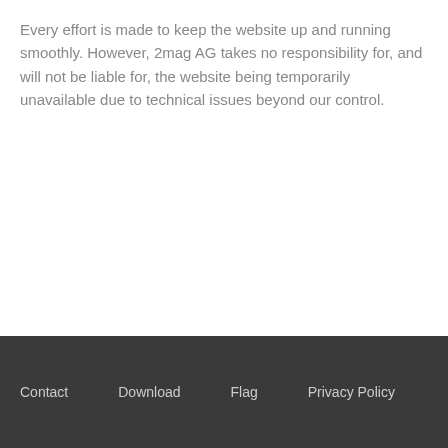Every effort is made to keep the website up and running smoothly. However, 2mag AG takes no responsibility for, and will not be liable for, the website being temporarily unavailable due to technical issues beyond our control.
Contact   Download   Flag   Privacy Policy